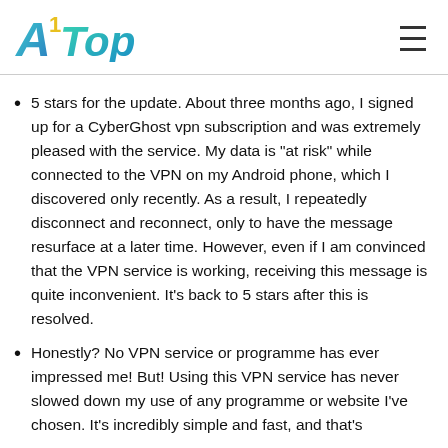[Figure (logo): A1Top logo with teal/green gradient lettering]
5 stars for the update. About three months ago, I signed up for a CyberGhost vpn subscription and was extremely pleased with the service. My data is "at risk" while connected to the VPN on my Android phone, which I discovered only recently. As a result, I repeatedly disconnect and reconnect, only to have the message resurface at a later time. However, even if I am convinced that the VPN service is working, receiving this message is quite inconvenient. It's back to 5 stars after this is resolved.
Honestly? No VPN service or programme has ever impressed me! But! Using this VPN service has never slowed down my use of any programme or website I've chosen. It's incredibly simple and fast, and that's